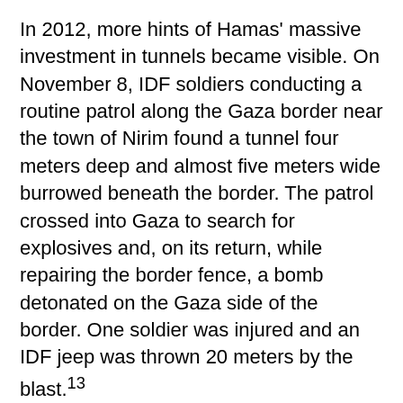In 2012, more hints of Hamas' massive investment in tunnels became visible. On November 8, IDF soldiers conducting a routine patrol along the Gaza border near the town of Nirim found a tunnel four meters deep and almost five meters wide burrowed beneath the border. The patrol crossed into Gaza to search for explosives and, on its return, while repairing the border fence, a bomb detonated on the Gaza side of the border. One soldier was injured and an IDF jeep was thrown 20 meters by the blast.¹³
In November 2012, Hamas also accelerated its rocket attacks against Israeli communities, an escalation that culminated with the IDF's pinpoint strike on Hamas chief-of-staff Ahmed Jabari and the eight-day Operation Pillar of Defense.¹⁴ In that operation, the IDF said it